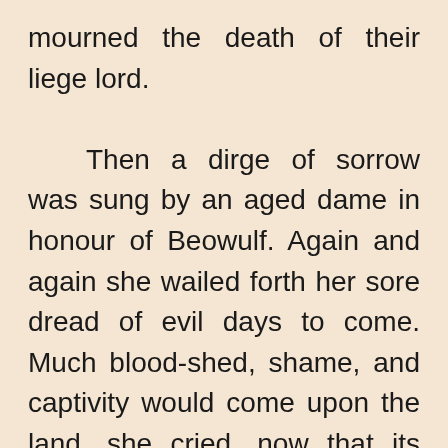mourned the death of their liege lord.

    Then a dirge of sorrow was sung by an aged dame in honour of Beowulf. Again and again she wailed forth her sore dread of evil days to come. Much blood-shed, shame, and captivity would come upon the land, she cried, now that its lord was dead.

    And as she wailed the fire